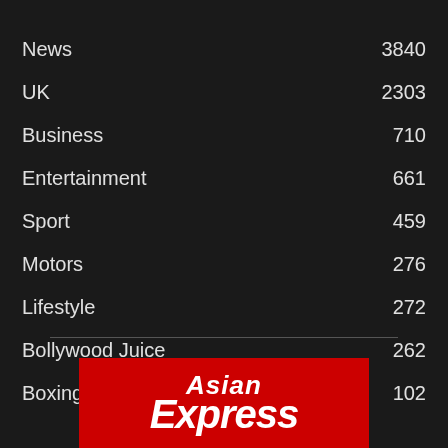News  3840
UK  2303
Business  710
Entertainment  661
Sport  459
Motors  276
Lifestyle  272
Bollywood Juice  262
Boxing  102
[Figure (logo): Asian Express logo — white bold italic text on red background]